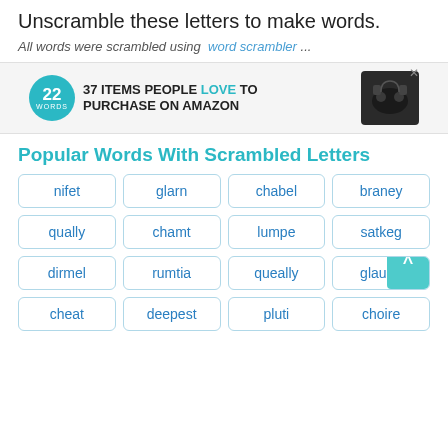Unscramble these letters to make words.
All words were scrambled using word scrambler ...
[Figure (infographic): Advertisement banner: 22 Words logo with teal circle, bold text '37 ITEMS PEOPLE LOVE TO PURCHASE ON AMAZON', image of wireless earbuds, close button X]
Popular Words With Scrambled Letters
nifet
glarn
chabel
braney
qually
chamt
lumpe
satkeg
dirmel
rumtia
queally
glaupe
cheat
deepest
pluti
choire